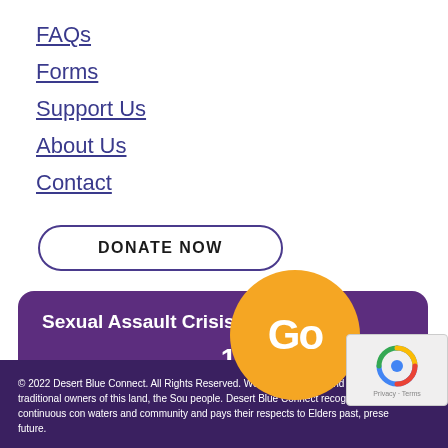FAQs
Forms
Support Us
About Us
Contact
DONATE NOW
Sexual Assault Crisis Line
1800 016 789
© 2022 Desert Blue Connect. All Rights Reserved. We respect the past and present traditional owners of this land, the Sou people. Desert Blue Connect recognises their continuous con waters and community and pays their respects to Elders past, prese future.